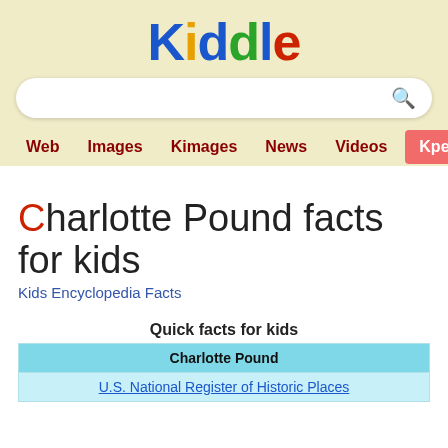[Figure (logo): Kiddle logo with colorful letters]
[Figure (screenshot): Search bar with magnifying glass icon]
Web  Images  Kimages  News  Videos  Kpedia
Charlotte Pound facts for kids
Kids Encyclopedia Facts
| Quick facts for kids |
| --- |
| Charlotte Pound |
| U.S. National Register of Historic Places |